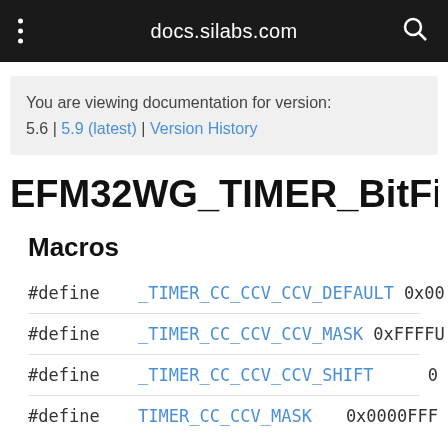docs.silabs.com
You are viewing documentation for version: 5.6 | 5.9 (latest) | Version History
EFM32WG_TIMER_BitFieldsDev
Macros
#define _TIMER_CC_CCV_CCV_DEFAULT 0x00
#define _TIMER_CC_CCV_CCV_MASK 0xFFFFU
#define _TIMER_CC_CCV_CCV_SHIFT 0
#define TIMER_CC_CCV_MASK 0x0000FFF